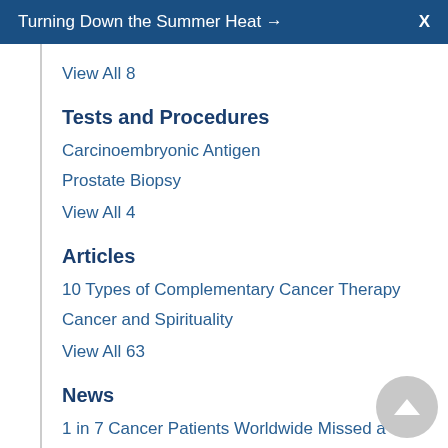Turning Down the Summer Heat → X
View All 8
Tests and Procedures
Carcinoembryonic Antigen
Prostate Biopsy
View All 4
Articles
10 Types of Complementary Cancer Therapy
Cancer and Spirituality
View All 63
News
1 in 7 Cancer Patients Worldwide Missed a